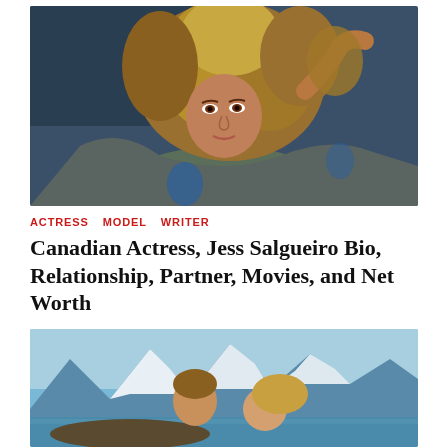[Figure (photo): Portrait photo of Jess Salgueiro, a woman with curly blonde hair, wearing a grey jacket with blue details, posing with one hand raised to her head against a blue-grey background.]
ACTRESS   MODEL   WRITER
Canadian Actress, Jess Salgueiro Bio, Relationship, Partner, Movies, and Net Worth
[Figure (photo): A couple (man and woman) photographed outdoors with snow-capped mountains and a lake in the background, both looking downward.]